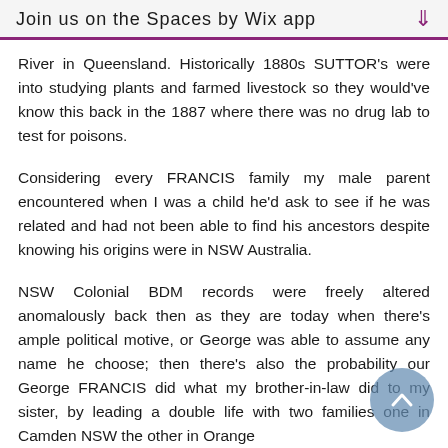Join us on the Spaces by Wix app
River in Queensland. Historically 1880s SUTTOR's were into studying plants and farmed livestock so they would've know this back in the 1887 where there was no drug lab to test for poisons.
Considering every FRANCIS family my male parent encountered when I was a child he'd ask to see if he was related and had not been able to find his ancestors despite knowing his origins were in NSW Australia.
NSW Colonial BDM records were freely altered anomalously back then as they are today when there's ample political motive, or George was able to assume any name he choose; then there's also the probability our George FRANCIS did what my brother-in-law did to my sister, by leading a double life with two families one in Camden NSW the other in Orange